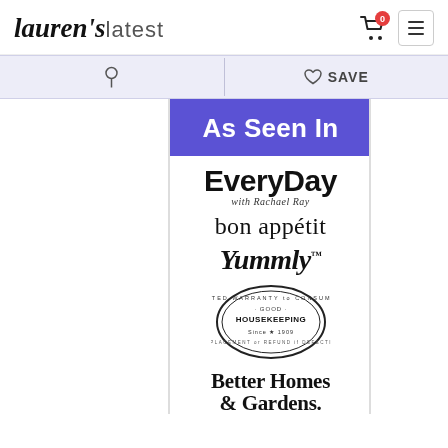lauren's latest
[Figure (logo): Lauren's Latest script logo with shopping cart (badge: 0) and hamburger menu button]
[Figure (screenshot): Toolbar with Pinterest pin button and Save/heart button on lavender background]
As Seen In
[Figure (logo): EveryDay with Rachael Ray logo]
[Figure (logo): bon appétit logo]
[Figure (logo): Yummly logo]
[Figure (logo): Good Housekeeping seal logo]
[Figure (logo): Better Homes & Gardens logo]